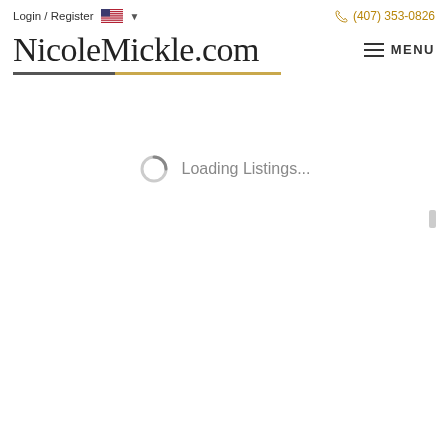Login / Register   🇺🇸 ▾   (407) 353-0826
NicoleMickle.com
≡ MENU
Loading Listings...